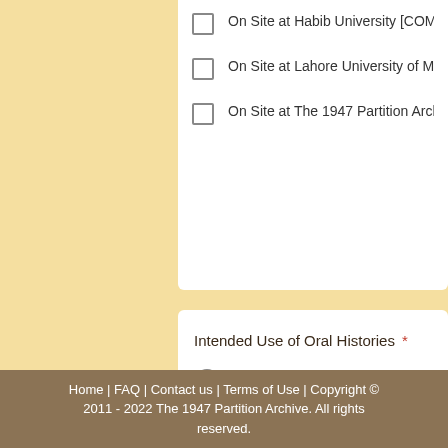On Site at Habib University [COMING SOON]
On Site at Lahore University of Management Sc…
On Site at The 1947 Partition Archive's Berkeley…
Intended Use of Oral Histories *
Personal knowledge
Book/E-Book
Editorial/Print
Video/Film Production
Exhibition Use
Home | FAQ | Contact us | Terms of Use | Copyright © 2011 - 2022 The 1947 Partition Archive. All rights reserved.